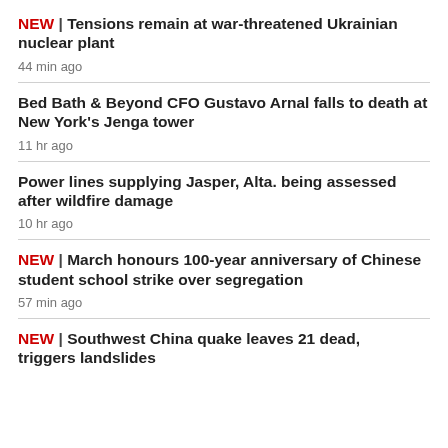NEW | Tensions remain at war-threatened Ukrainian nuclear plant
44 min ago
Bed Bath & Beyond CFO Gustavo Arnal falls to death at New York's Jenga tower
11 hr ago
Power lines supplying Jasper, Alta. being assessed after wildfire damage
10 hr ago
NEW | March honours 100-year anniversary of Chinese student school strike over segregation
57 min ago
NEW | Southwest China quake leaves 21 dead, triggers landslides